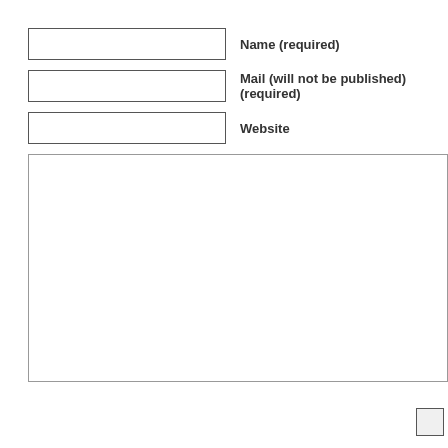Name (required)
Mail (will not be published) (required)
Website